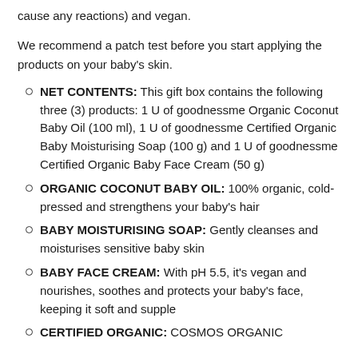cause any reactions) and vegan.
We recommend a patch test before you start applying the products on your baby's skin.
NET CONTENTS: This gift box contains the following three (3) products: 1 U of goodnessme Organic Coconut Baby Oil (100 ml), 1 U of goodnessme Certified Organic Baby Moisturising Soap (100 g) and 1 U of goodnessme Certified Organic Baby Face Cream (50 g)
ORGANIC COCONUT BABY OIL: 100% organic, cold-pressed and strengthens your baby's hair
BABY MOISTURISING SOAP: Gently cleanses and moisturises sensitive baby skin
BABY FACE CREAM: With pH 5.5, it's vegan and nourishes, soothes and protects your baby's face, keeping it soft and supple
CERTIFIED ORGANIC: COSMOS ORGANIC